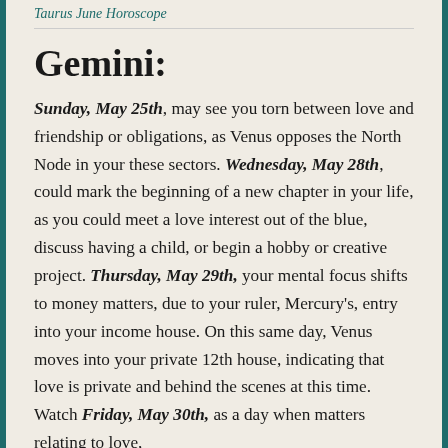Taurus June Horoscope
Gemini:
Sunday, May 25th, may see you torn between love and friendship or obligations, as Venus opposes the North Node in your these sectors. Wednesday, May 28th, could mark the beginning of a new chapter in your life, as you could meet a love interest out of the blue, discuss having a child, or begin a hobby or creative project. Thursday, May 29th, your mental focus shifts to money matters, due to your ruler, Mercury's, entry into your income house. On this same day, Venus moves into your private 12th house, indicating that love is private and behind the scenes at this time. Watch Friday, May 30th, as a day when matters relating to love,